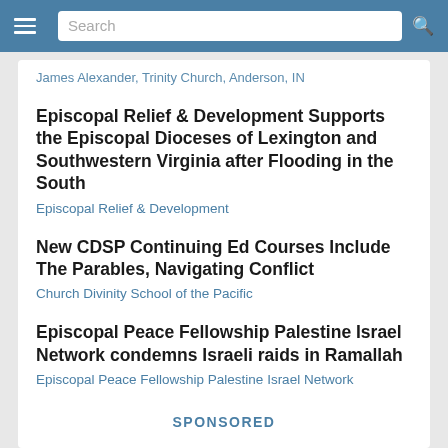Search
James Alexander, Trinity Church, Anderson, IN
Episcopal Relief & Development Supports the Episcopal Dioceses of Lexington and Southwestern Virginia after Flooding in the South
Episcopal Relief & Development
New CDSP Continuing Ed Courses Include The Parables, Navigating Conflict
Church Divinity School of the Pacific
Episcopal Peace Fellowship Palestine Israel Network condemns Israeli raids in Ramallah
Episcopal Peace Fellowship Palestine Israel Network
SPONSORED